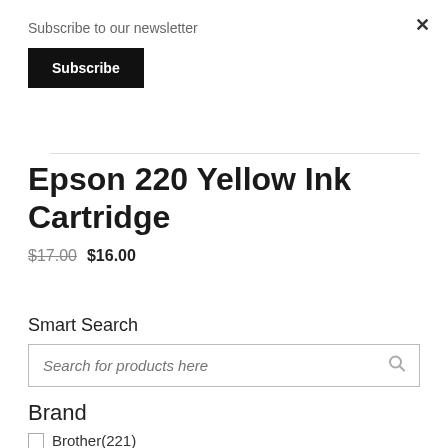Subscribe to our newsletter
Subscribe
Epson 220 Yellow Ink Cartridge
$17.00 $16.00
Smart Search
Search for products here
Brand
Brother(221)